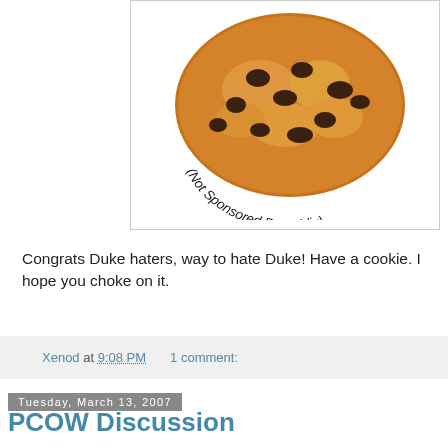[Figure (photo): A chocolate chip cookie photographed on a white background with curved text reading '(Not Sponsored By Publix)' around the bottom of the cookie. The image is inside a white box with a light gray border.]
Congrats Duke haters, way to hate Duke! Have a cookie. I hope you choke on it.
Xenod at 9:08 PM    1 comment:
Tuesday, March 13, 2007
PCOW Discussion